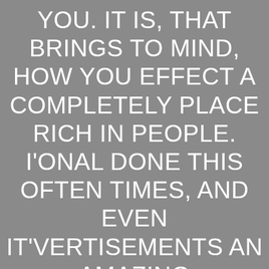YOU. IT IS, THAT BRINGS TO MIND, HOW YOU EFFECT A COMPLETELY PLACE RICH IN PEOPLE. I'ONAL DONE THIS OFTEN TIMES, AND EVEN IT'VERTISEMENTS AN AMAZING EXPERIENCE. PEOPLE DON'G USE THIS FROM WORRYING IN RELATION TO ONE OTHER PEOPLE, OR PERHAPS THE